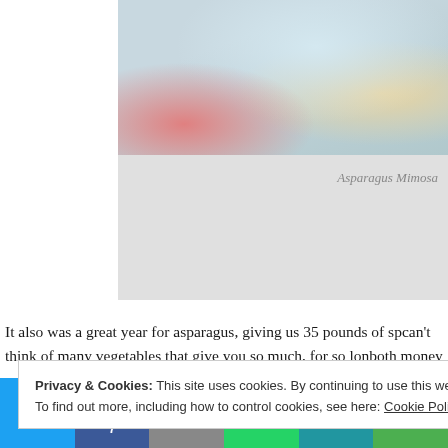[Figure (photo): Partial view of a plate with asparagus and other food items on a teal/blue plate, with a floral tablecloth visible]
Asparagus Mimosa
It also was a great year for asparagus, giving us 35 pounds of sp… can't think of many vegetables that give you so much, for so lon… both money and time. For my wife and I our homegrown aspara… seasonally. We enjoy it fresh for two months and then freeze a b… the year. I can't remember the last time I bought asparagus, beca… for anything else! We made a meal off the Asparagus Mimosa in…
Privacy & Cookies: This site uses cookies. By continuing to use this website, you agree to their use.
To find out more, including how to control cookies, see here: Cookie Policy